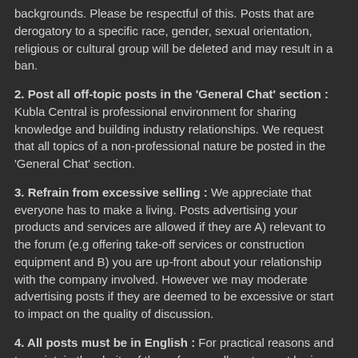backgrounds. Please be respectful of this. Posts that are derogatory to a specific race, gender, sexual orientation, religious or cultural group will be deleted and may result in a ban.
2. Post all off-topic posts in the 'General Chat' section : Kubla Central is professional environment for sharing knowledge and building industry relationships. We request that all topics of a non-professional nature be posted in the 'General Chat' section.
3. Refrain from excessive selling : We appreciate that everyone has to make a living. Posts advertising your products and services are allowed if they are A) relevant to the forum (e.g offering take-off services or construction equipment and B) you are up-front about your relationship with the company involved. However we may moderate advertising posts if they are deemed to be excessive or start to impact on the quality of discussion.
4. All posts must be in English : For practical reasons and to maintain the clarity of these forums all posts must be in English. Alternative language forums will be considered for the future.
5. Do not post personal information : These forums are publicly searchable and are therefore scanned regularly by data harvesting bots. If you post a personal phone number or e-mail that individual may receive unwanted attention. Posts containing an